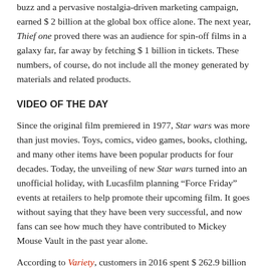buzz and a pervasive nostalgia-driven marketing campaign, earned $ 2 billion at the global box office alone. The next year, Thief one proved there was an audience for spin-off films in a galaxy far, far away by fetching $ 1 billion in tickets. These numbers, of course, do not include all the money generated by materials and related products.
VIDEO OF THE DAY
Since the original film premiered in 1977, Star wars was more than just movies. Toys, comics, video games, books, clothing, and many other items have been popular products for four decades. Today, the unveiling of new Star wars turned into an unofficial holiday, with Lucasfilm planning “Force Friday” events at retailers to help promote their upcoming film. It goes without saying that they have been very successful, and now fans can see how much they have contributed to Mickey Mouse Vault in the past year alone.
According to Variety, customers in 2016 spent $ 262.9 billion on